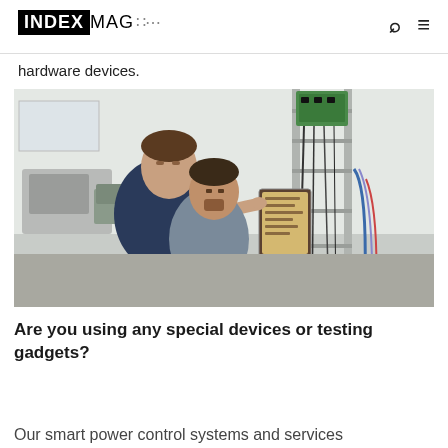INDEXMAG
hardware devices.
[Figure (photo): Two engineers/technicians examining and interacting with a tablet-like device mounted on a metal rack/rail system with electronic modules. They are in a lab or workshop environment.]
Are you using any special devices or testing gadgets?
Our smart power control systems and services